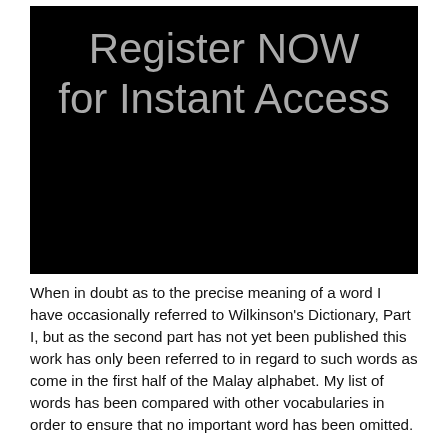[Figure (other): Black rectangle background with gray text reading 'Register NOW for Instant Access']
When in doubt as to the precise meaning of a word I have occasionally referred to Wilkinson's Dictionary, Part I, but as the second part has not yet been published this work has only been referred to in regard to such words as come in the first half of the Malay alphabet. My list of words has been compared with other vocabularies in order to ensure that no important word has been omitted.